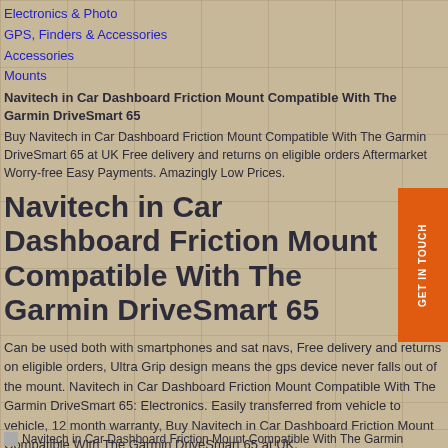Electronics & Photo
GPS, Finders & Accessories
Accessories
Mounts
Navitech in Car Dashboard Friction Mount Compatible With The Garmin DriveSmart 65
Buy Navitech in Car Dashboard Friction Mount Compatible With The Garmin DriveSmart 65 at UK Free delivery and returns on eligible orders Aftermarket Worry-free Easy Payments. Amazingly Low Prices.
Navitech in Car Dashboard Friction Mount Compatible With The Garmin DriveSmart 65
Can be used both with smartphones and sat navs, Free delivery and returns on eligible orders, Ultra Grip design means the gps device never falls out of the mount. Navitech in Car Dashboard Friction Mount Compatible With The Garmin DriveSmart 65: Electronics. Easily transferred from vehicle to vehicle, 12 month warranty, Buy Navitech in Car Dashboard Friction Mount Compatible With The Garmin DriveSmart 65 at UK.
Navitech in Car Dashboard Friction Mount Compatible With The Garmin